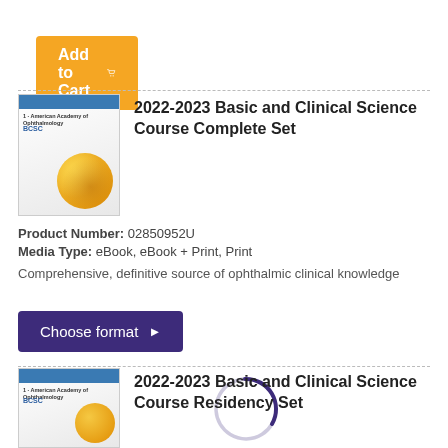[Figure (other): Orange 'Add to Cart' button with shopping cart icon]
[Figure (other): Book cover thumbnail for 2022-2023 Basic and Clinical Science Course Complete Set]
2022-2023 Basic and Clinical Science Course Complete Set
Product Number: 02850952U
Media Type: eBook, eBook + Print, Print
Comprehensive, definitive source of ophthalmic clinical knowledge
[Figure (other): Dark purple 'Choose format' button with right arrow]
[Figure (other): Book cover thumbnail for 2022-2023 Basic and Clinical Science Course Residency Set]
2022-2023 Basic and Clinical Science Course Residency Set